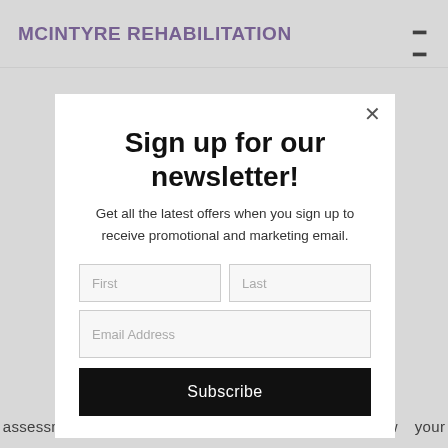MCINTYRE REHABILITATION
Sign up for our newsletter!
Get all the latest offers when you sign up to receive promotional and marketing email.
First
Last
Email Address
Subscribe
assessments are a great opportunity to review your